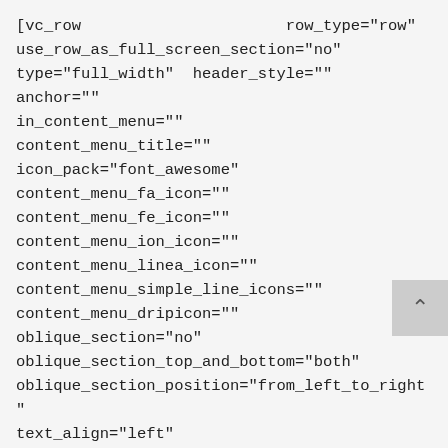[vc_row                      row_type="row"
use_row_as_full_screen_section="no"
type="full_width"  header_style=""  anchor=""
in_content_menu=""      content_menu_title=""
icon_pack="font_awesome"
content_menu_fa_icon=""
content_menu_fe_icon=""
content_menu_ion_icon=""
content_menu_linea_icon=""
content_menu_simple_line_icons=""
content_menu_dripicon=""
oblique_section="no"
oblique_section_top_and_bottom="both"
oblique_section_position="from_left_to_right"
text_align="left"              triangle_shape="no"
triangle_shape_position="both"
triangle_shape_color="both"              video=""
video_overlay=""      video_overlay_image=""